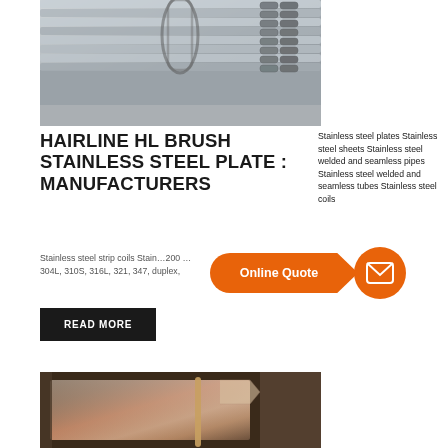[Figure (photo): Bundle of stainless steel rectangular tubes/bars stacked together, silver metallic color]
HAIRLINE HL BRUSH STAINLESS STEEL PLATE : MANUFACTURERS
Stainless steel plates Stainless steel sheets Stainless steel welded and seamless pipes Stainless steel welded and seamless tubes Stainless steel coils Stainless steel strip coils Stainless 200 304L, 310S, 316L, 321, 347, duplex,
Online Quote
[Figure (other): Orange email/envelope button circle icon]
READ MORE
[Figure (photo): Rose gold / copper colored stainless steel sheet with plastic film wrapping, partially unwrapped]